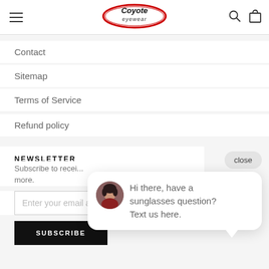Coyote Eyewear — navigation header with logo, hamburger menu, search and cart icons
Contact
Sitemap
Terms of Service
Refund policy
NEWSLETTER
Subscribe to recei... more.
Enter your email address
SUBSCRIBE
[Figure (other): Chat popup with avatar photo of a woman, text: Hi there, have a sunglasses question? Text us here. With a close button and a chat bubble icon button.]